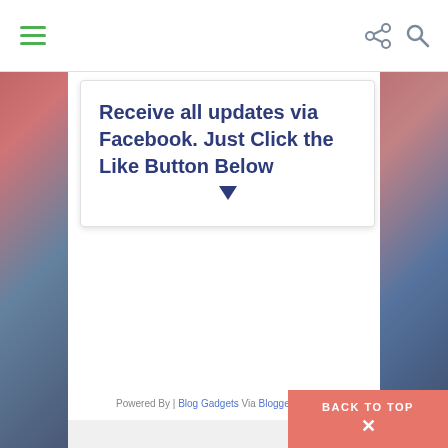Receive all updates via Facebook. Just Click the Like Button Below
Powered By | Blog Gadgets Via Blogger Widgets
BACK TO TOP